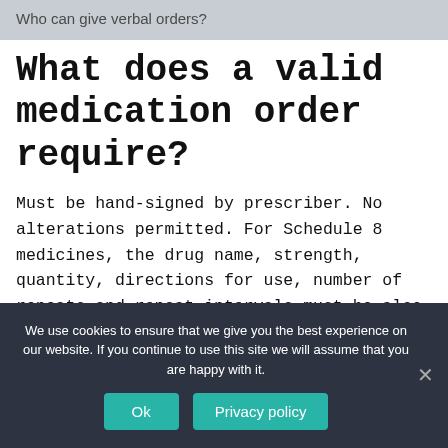Who can give verbal orders?
What does a valid medication order require?
Must be hand-signed by prescriber. No alterations permitted. For Schedule 8 medicines, the drug name, strength, quantity, directions for use, number of repeats and repeat intervals must be also hand-written by prescriber. Some exemptions are in place for prescriptions dispensed only at a public hospital pharmacy.
We use cookies to ensure that we give you the best experience on our website. If you continue to use this site we will assume that you are happy with it.